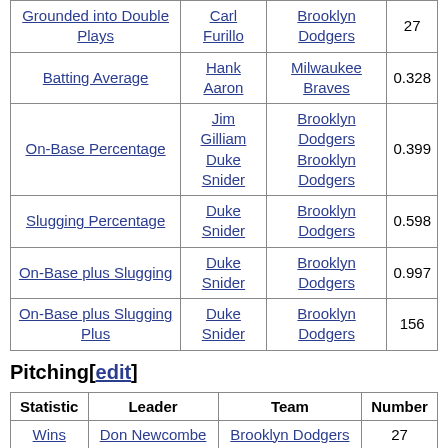| Statistic | Leader | Team | Number |
| --- | --- | --- | --- |
| Grounded into Double Plays | Carl Furillo | Brooklyn Dodgers | 27 |
| Batting Average | Hank Aaron | Milwaukee Braves | 0.328 |
| On-Base Percentage | Jim Gilliam
Duke Snider | Brooklyn Dodgers
Brooklyn Dodgers | 0.399 |
| Slugging Percentage | Duke Snider | Brooklyn Dodgers | 0.598 |
| On-Base plus Slugging | Duke Snider | Brooklyn Dodgers | 0.997 |
| On-Base plus Slugging Plus | Duke Snider | Brooklyn Dodgers | 156 |
Pitching[edit]
| Statistic | Leader | Team | Number |
| --- | --- | --- | --- |
| Wins | Don Newcombe | Brooklyn Dodgers | 27 |
|  |  | Pittsburgh |  |